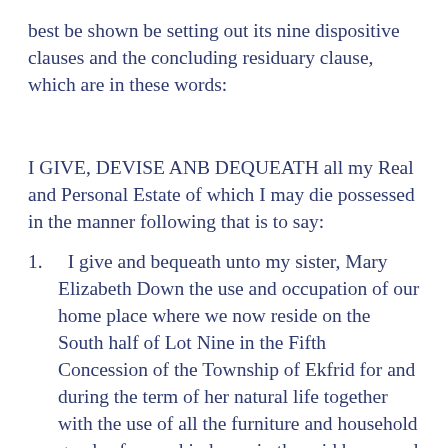best be shown be setting out its nine dispositive clauses and the concluding residuary clause, which are in these words:
I GIVE, DEVISE ANB DEQUEATH all my Real and Personal Estate of which I may die possessed in the manner following that is to say:
1.  I give and bequeath unto my sister, Mary Elizabeth Down the use and occupation of our home place where we now reside on the South half of Lot Nine in the Fifth Concession of the Township of Ekfrid for and during the term of her natural life together with the use of all the furniture and household goods of every kind now in the said home and together with a